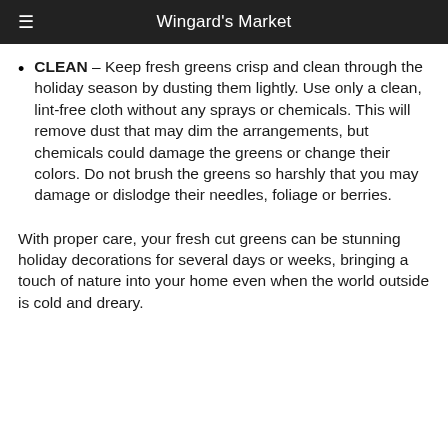Wingard's Market
CLEAN – Keep fresh greens crisp and clean through the holiday season by dusting them lightly. Use only a clean, lint-free cloth without any sprays or chemicals. This will remove dust that may dim the arrangements, but chemicals could damage the greens or change their colors. Do not brush the greens so harshly that you may damage or dislodge their needles, foliage or berries.
With proper care, your fresh cut greens can be stunning holiday decorations for several days or weeks, bringing a touch of nature into your home even when the world outside is cold and dreary.